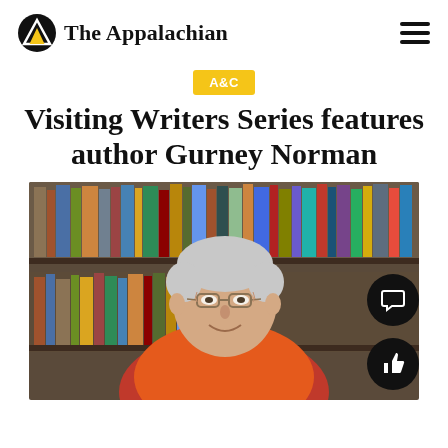The Appalachian
A&C
Visiting Writers Series features author Gurney Norman
[Figure (photo): An older man with gray hair and glasses wearing an orange sweater, smiling in front of bookshelves filled with books.]